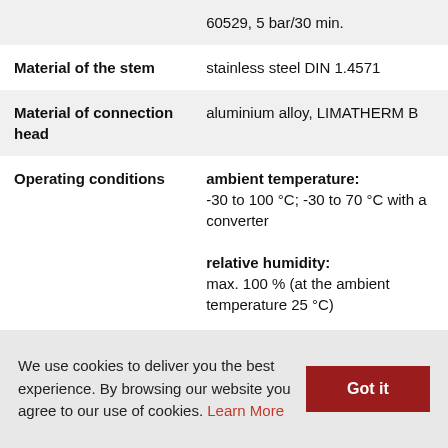|  | 60529, 5 bar/30 min. |
| Material of the stem | stainless steel DIN 1.4571 |
| Material of connection head | aluminium alloy, LIMATHERM B |
| Operating conditions | ambient temperature:
-30 to 100 °C; -30 to 70 °C with a converter

relative humidity:
max. 100 % (at the ambient temperature 25 °C) |
We use cookies to deliver you the best experience. By browsing our website you agree to our use of cookies. Learn More